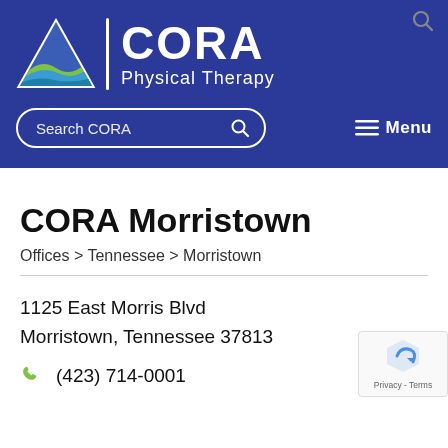[Figure (logo): CORA Physical Therapy logo with mountain triangle graphic, white text on dark blue background, search bar and menu button]
CORA Morristown
Offices > Tennessee > Morristown
1125 East Morris Blvd
Morristown, Tennessee 37813
(423) 714-0001